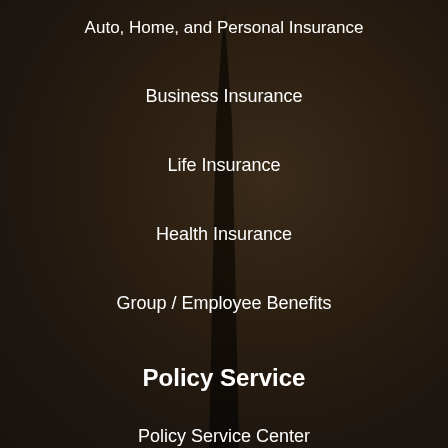Auto, Home, and Personal Insurance
Business Insurance
Life Insurance
Health Insurance
Group / Employee Benefits
Policy Service
Policy Service Center